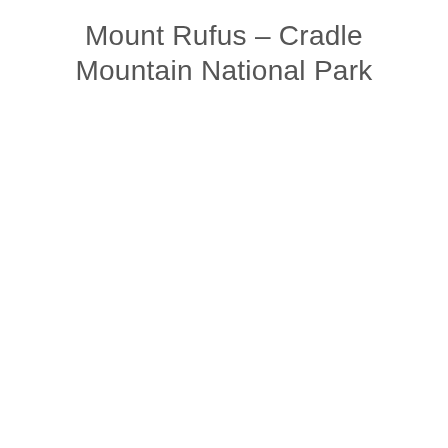Mount Rufus – Cradle Mountain National Park